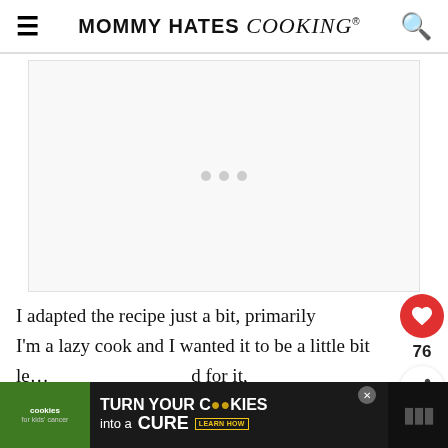MOMMY HATES cooking®
[Figure (other): Advertisement placeholder area with three small gray dots in the center, white/light gray background]
I adapted the recipe just a bit, primarily
I'm a lazy cook and I wanted it to be a little bit
le... d for it,
[Figure (other): Bottom advertisement banner: Cookies for Kids' Cancer - 'turn your COOKIES into a CURE LEARN HOW' on dark background]